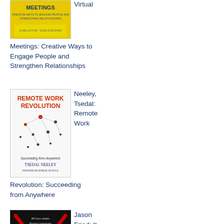[Figure (illustration): Book cover for Virtual Meetings: Creative Ways to Engage People and Strengthen Relationships - yellow cover with title]
Virtual
Meetings: Creative Ways to Engage People and Strengthen Relationships
[Figure (illustration): Book cover for Remote Work Revolution: Succeeding from Anywhere by Tsedal Neeley - white cover with network diagram]
Neeley, Tsedal: Remote Work
Revolution: Succeeding from Anywhere
[Figure (illustration): Book cover for It Doesn't Have to Be Crazy at Work by Jason Fried - black cover with red X through work-life items]
Jason Fried: It Doesn't Have to Be Crazy at